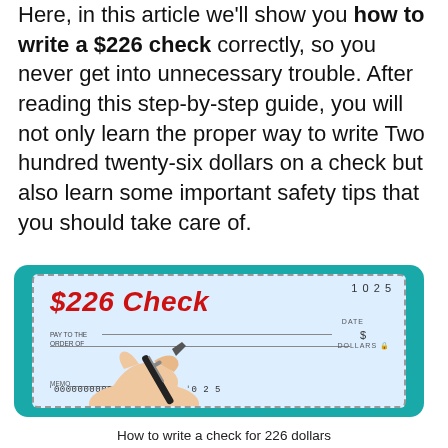Here, in this article we'll show you how to write a $226 check correctly, so you never get into unnecessary trouble. After reading this step-by-step guide, you will not only learn the proper way to write Two hundred twenty-six dollars on a check but also learn some important safety tips that you should take care of.
[Figure (illustration): An illustration of a $226 check with teal/turquoise border, showing check number 1025, PAY TO THE ORDER OF line, dollar sign, DOLLARS line, memo line, and routing/account numbers. A hand holding a pen is writing on the check. Red bold italic text reads '$226 Check'.]
How to write a check for 226 dollars